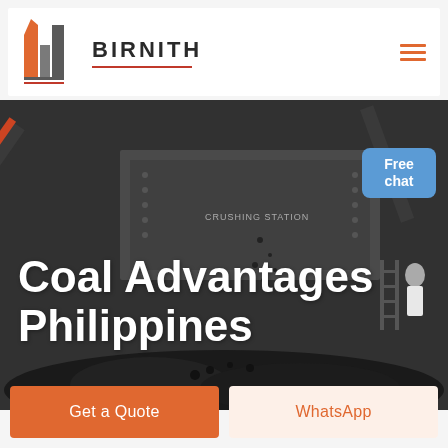[Figure (logo): Birnith company logo: stylized orange and grey building/pillar icon with red underline, text BIRNITH in bold caps, hamburger menu icon in orange at right]
[Figure (photo): Industrial coal crushing station machinery with excavators and heavy equipment, coal pile in foreground, dark/grey tones. Overlay text reads 'Coal Advantages Philippines' in large white bold font. A customer service representative image with a blue 'Free chat' bubble appears at upper right.]
Coal Advantages Philippines
Free chat
Get a Quote
WhatsApp